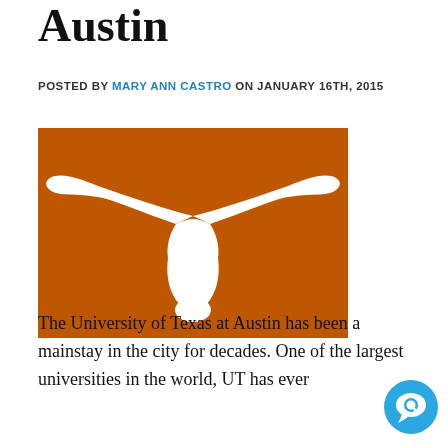Austin
POSTED BY MARY ANN CASTRO ON JANUARY 16TH, 2015
[Figure (logo): University of Texas at Austin Longhorns logo — white longhorn silhouette on burnt orange background]
The University of Texas at Austin has been a mainstay in the city for decades. One of the largest universities in the world, UT has ever